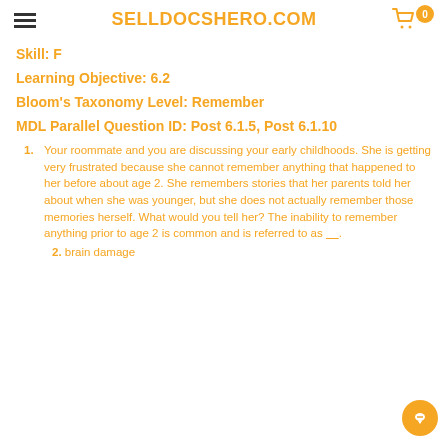SELLDOCSHERO.COM
Skill: F
Learning Objective: 6.2
Bloom's Taxonomy Level: Remember
MDL Parallel Question ID: Post 6.1.5, Post 6.1.10
1. Your roommate and you are discussing your early childhoods. She is getting very frustrated because she cannot remember anything that happened to her before about age 2. She remembers stories that her parents told her about when she was younger, but she does not actually remember those memories herself. What would you tell her? The inability to remember anything prior to age 2 is common and is referred to as ___.
2. brain damage